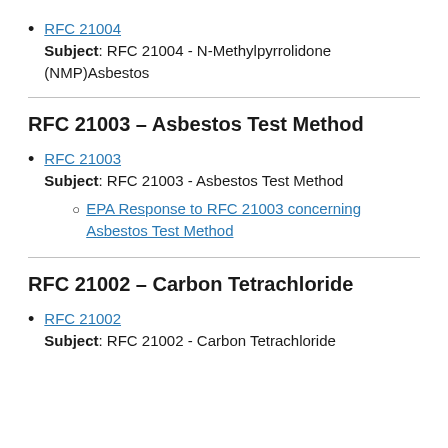RFC 21004
Subject: RFC 21004 - N-Methylpyrrolidone (NMP)Asbestos
RFC 21003 – Asbestos Test Method
RFC 21003
Subject: RFC 21003 - Asbestos Test Method
EPA Response to RFC 21003 concerning Asbestos Test Method
RFC 21002 – Carbon Tetrachloride
RFC 21002
Subject: RFC 21002 - Carbon Tetrachloride